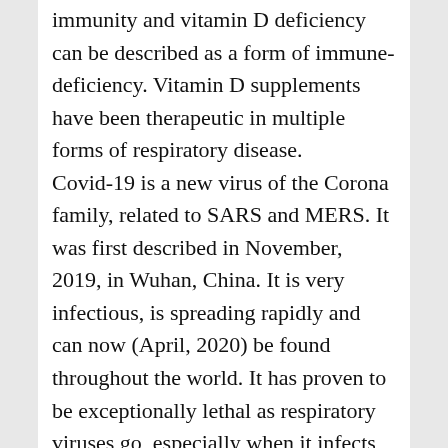immunity and vitamin D deficiency can be described as a form of immune-deficiency. Vitamin D supplements have been therapeutic in multiple forms of respiratory disease. Covid-19 is a new virus of the Corona family, related to SARS and MERS. It was first described in November, 2019, in Wuhan, China. It is very infectious, is spreading rapidly and can now (April, 2020) be found throughout the world. It has proven to be exceptionally lethal as respiratory viruses go, especially when it infects individuals with serious pre-existing conditions. Vitamin D deficiency interacts with latitude, altitude, sunlight, diet, air